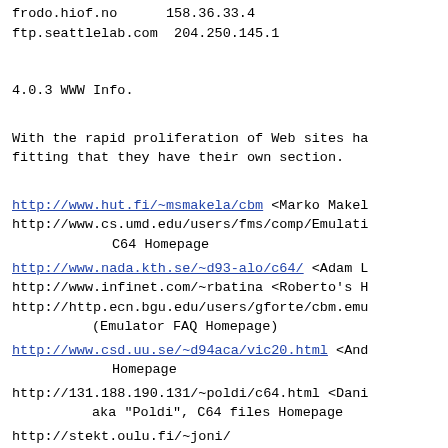frodo.hiof.no      158.36.33.4
ftp.seattlelab.com  204.250.145.1
4.0.3 WWW Info.
With the rapid proliferation of Web sites ha fitting that they have their own section.
http://www.hut.fi/~msmakela/cbm <Marko Makel http://www.cs.umd.edu/users/fms/comp/Emulati C64 Homepage
http://www.nada.kth.se/~d93-alo/c64/ <Adam L http://www.infinet.com/~rbatina <Roberto's H http://http.ecn.bgu.edu/users/gforte/cbm.emu (Emulator FAQ Homepage)
http://www.csd.uu.se/~d94aca/vic20.html <And Homepage
http://131.188.190.131/~poldi/c64.html <Dani aka "Poldi", C64 files Homepage
http://stekt.oulu.fi/~joni/